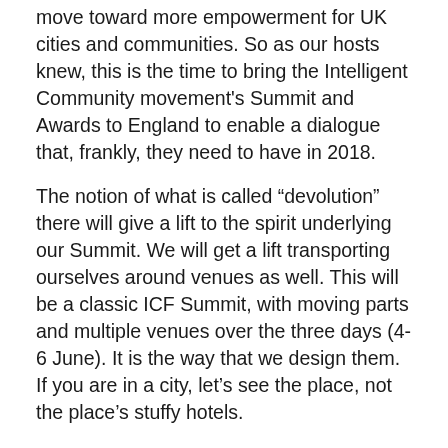move toward more empowerment for UK cities and communities. So as our hosts knew, this is the time to bring the Intelligent Community movement's Summit and Awards to England to enable a dialogue that, frankly, they need to have in 2018.
The notion of what is called “devolution” there will give a lift to the spirit underlying our Summit. We will get a lift transporting ourselves around venues as well. This will be a classic ICF Summit, with moving parts and multiple venues over the three days (4-6 June). It is the way that we design them. If you are in a city, let’s see the place, not the place’s stuffy hotels.
Transporting ourselves will become an airborne experience when people attending travel from the marvelous Siemens Crystal facility, site of plenaries and other events, (way) over, above and across the River Thames, to Digital Greenwich’s office on the Greenwich Peninsula on the first urban cable car (we call it a tram) of